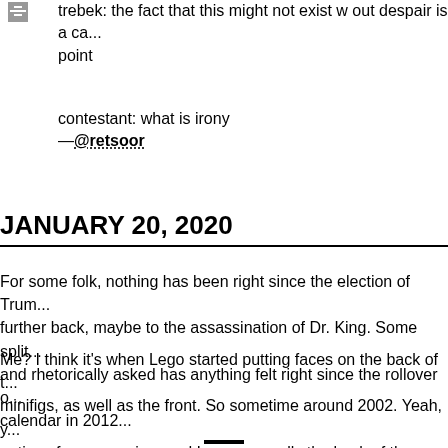trebek: the fact that this might not exist w out despair is a ca... point
contestant: what is irony
—@retsoor
JANUARY 20, 2020
For some folk, nothing has been right since the election of Trum... further back, maybe to the assassination of Dr. King. Some spl... and rhetorically asked has anything felt right since the rollover o... calendar in 2012...
Me? I think it's when Lego started putting faces on the back of t... minifigs, as well as the front. So sometime around 2002. Yeah, y... options for expression, and I guess usually the back of the hea... some kind of helmet or hat or hair blob, but still... for me it's not... the kayfabe of the "thingness" of the character - that piece is no... "head" it's just a brick that you can rotate for the most aesthetica... appearance.